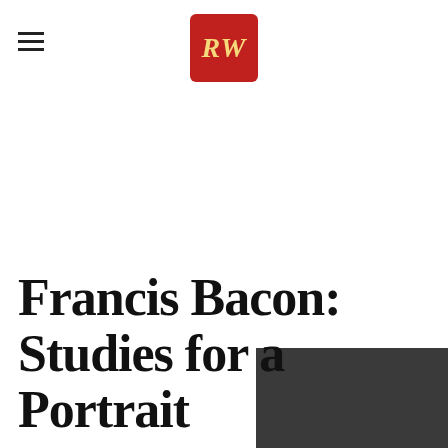PW
Francis Bacon: Studies for a Portrait